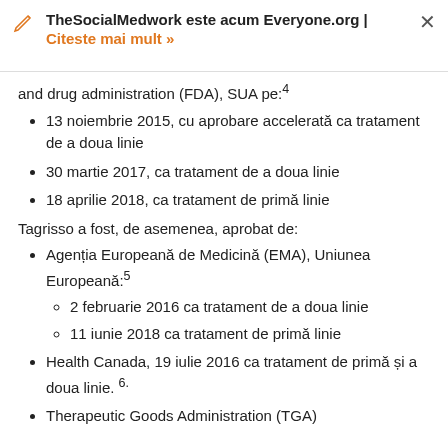TheSocialMedwork este acum Everyone.org | Citeste mai mult »
and drug administration (FDA), SUA pe:⁴
13 noiembrie 2015, cu aprobare accelerată ca tratament de a doua linie
30 martie 2017, ca tratament de a doua linie
18 aprilie 2018, ca tratament de primă linie
Tagrisso a fost, de asemenea, aprobat de:
Agenția Europeană de Medicină (EMA), Uniunea Europeană:⁵
2 februarie 2016 ca tratament de a doua linie
11 iunie 2018 ca tratament de primă linie
Health Canada, 19 iulie 2016 ca tratament de primă și a doua linie. ⁶·
Therapeutic Goods Administration (TGA)